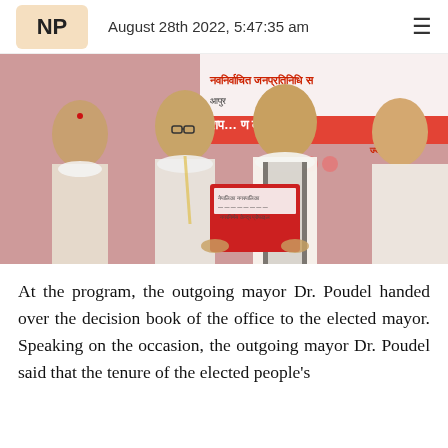NP  August 28th 2022, 5:47:35 am
[Figure (photo): Outgoing mayor Dr. Poudel handing over a red-covered decision book to the elected mayor at a program, with banners in Nepali script visible in the background. Several people wearing white scarves are present.]
At the program, the outgoing mayor Dr. Poudel handed over the decision book of the office to the elected mayor. Speaking on the occasion, the outgoing mayor Dr. Poudel said that the tenure of the elected people's